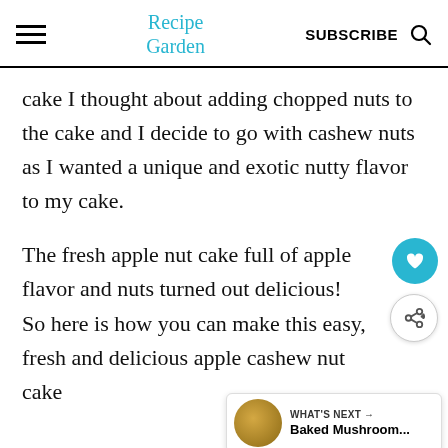Recipe Garden | SUBSCRIBE
cake I thought about adding chopped nuts to the cake and I decide to go with cashew nuts as I wanted a unique and exotic nutty flavor to my cake.
The fresh apple nut cake full of apple flavor and nuts turned out delicious! So here is how you can make this easy, fresh and delicious apple cashew nut cake following this easy recipe from scratch at